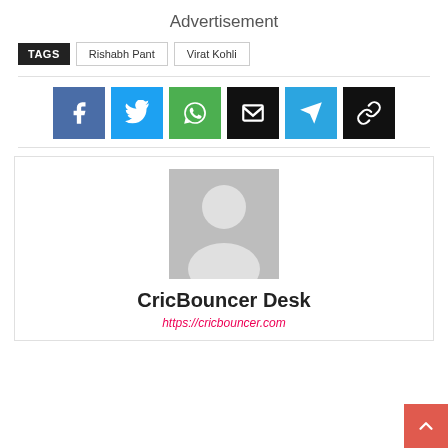Advertisement
TAGS  Rishabh Pant  Virat Kohli
[Figure (infographic): Social share buttons: Facebook (blue), Twitter (cyan), WhatsApp (green), Email (black), Telegram (cyan), Link (black)]
[Figure (photo): Author avatar placeholder (grey silhouette)]
CricBouncer Desk
https://cricbouncer.com